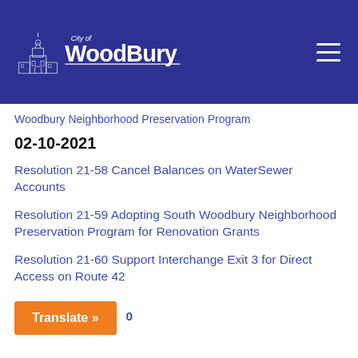[Figure (logo): City of Woodbury logo with building/tower illustration and text 'City of WoodBury' on dark blue header background]
Woodbury Neighborhood Preservation Program
02-10-2021
Resolution 21-58 Cancel Balances on WaterSewer Accounts
Resolution 21-59 Adopting South Woodbury Neighborhood Preservation Program for Renovation Grants
Resolution 21-60 Support Interchange Exit 3 for Direct Access on Route 42
Translate »